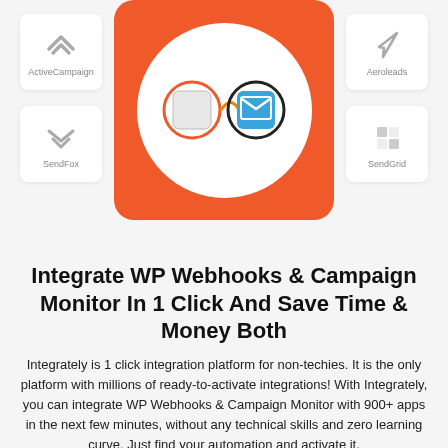[Figure (screenshot): Integration graphic showing a central orange card with a white circle containing two connected app icons (WP Webhooks with orange ring and Campaign Monitor with black ring), surrounded by four app cards: ActiveCampaign (top-left), Aeroleads (top-right), SendFox (bottom-left), SendGrid (bottom-right)]
Integrate WP Webhooks & Campaign Monitor In 1 Click And Save Time & Money Both
Integrately is 1 click integration platform for non-techies. It is the only platform with millions of ready-to-activate integrations! With Integrately, you can integrate WP Webhooks & Campaign Monitor with 900+ apps in the next few minutes, without any technical skills and zero learning curve. Just find your automation and activate it.